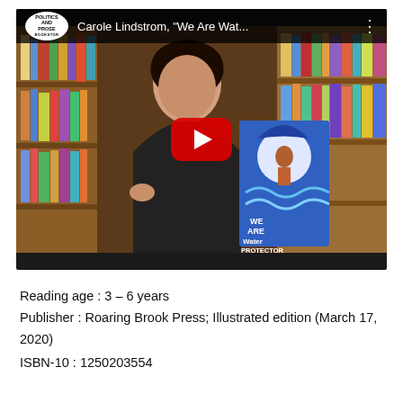[Figure (screenshot): YouTube video thumbnail showing Carole Lindstrom holding 'We Are Water Protectors' book in front of bookshelves. Politics and Prose bookstore logo in top left corner. Title reads: Carole Lindstrom, "We Are Wat..." with a red YouTube play button in the center.]
Reading age : 3 – 6 years
Publisher : Roaring Brook Press; Illustrated edition (March 17, 2020)
ISBN-10 : 1250203554